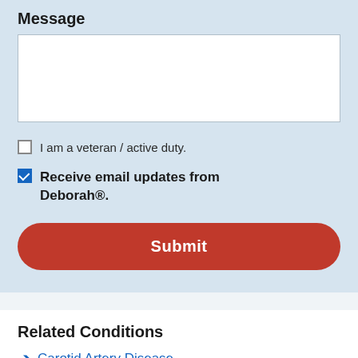Message
[Message text area - empty input field]
I am a veteran / active duty.
Receive email updates from Deborah®.
Submit
Related Conditions
Carotid Artery Disease